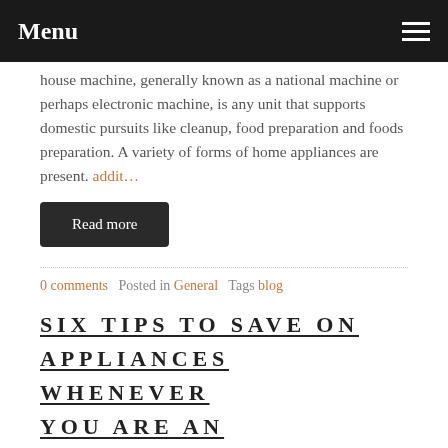Menu
house machine, generally known as a national machine or perhaps electronic machine, is any unit that supports domestic pursuits like cleanup, food preparation and foods preparation. A variety of forms of home appliances are present. addit…
Read more
0 comments   Posted in General   Tags blog
SIX TIPS TO SAVE ON APPLIANCES WHENEVER YOU ARE AN IMPORTANT CONSUMER
March 19, 2021